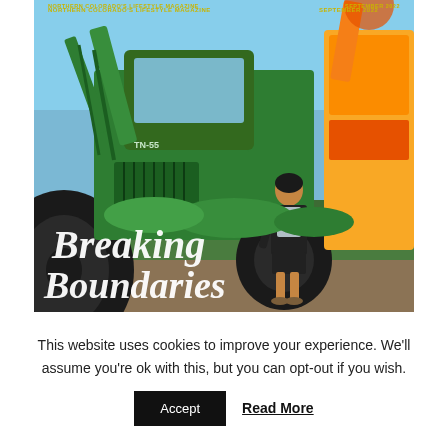NORTHERN COLORADO'S LIFESTYLE MAGAZINE    SEPTEMBER 2022
[Figure (photo): Magazine cover showing a woman in a black blazer and shorts standing in front of a large green industrial tractor/machine (labeled TN-55) and a yellow excavator. The cover text reads 'Breaking Boundaries' in white italic serif font. The setting is outdoors with greenery and a dirt/gravel ground.]
Breaking Boundaries
This website uses cookies to improve your experience. We'll assume you're ok with this, but you can opt-out if you wish.
Accept   Read More